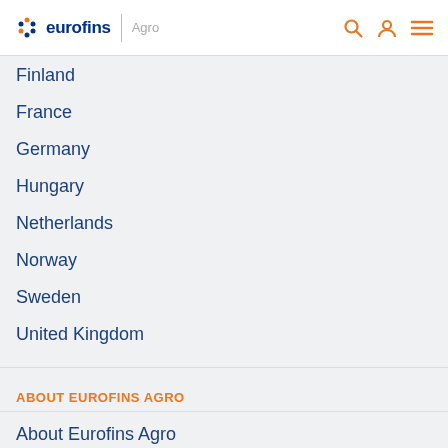eurofins | Agro
Finland
France
Germany
Hungary
Netherlands
Norway
Sweden
United Kingdom
ABOUT EUROFINS AGRO
About Eurofins Agro
Accreditation
Privacy Statement